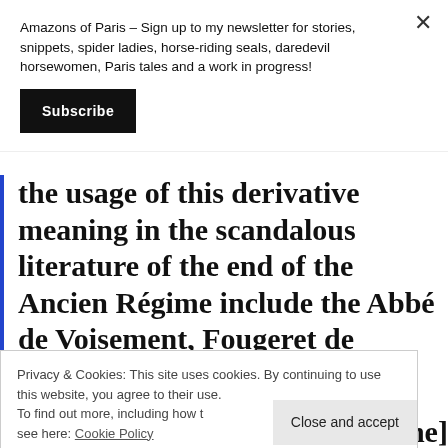Amazons of Paris – Sign up to my newsletter for stories, snippets, spider ladies, horse-riding seals, daredevil horsewomen, Paris tales and a work in progress!
Subscribe
the usage of this derivative meaning in the scandalous literature of the end of the Ancien Régime include the Abbé de Voisement, Fougeret de
Privacy & Cookies: This site uses cookies. By continuing to use this website, you agree to their use.
To find out more, including how to control cookies, see here: Cookie Policy
Close and accept
century. [the term appears in the]